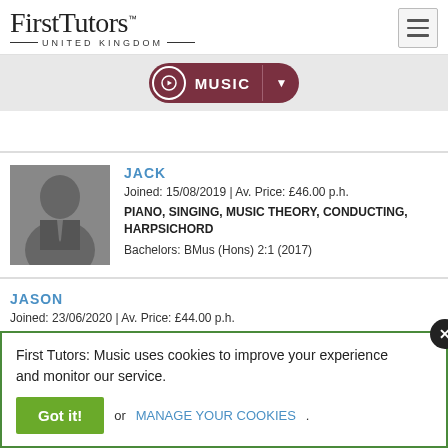[Figure (logo): FirstTutors United Kingdom logo]
MUSIC
JACK
Joined: 15/08/2019 | Av. Price: £46.00 p.h.
PIANO, SINGING, MUSIC THEORY, CONDUCTING, HARPSICHORD
Bachelors: BMus (Hons) 2:1 (2017)
JASON
Joined: 23/06/2020 | Av. Price: £44.00 p.h.
First Tutors: Music uses cookies to improve your experience and monitor our service.